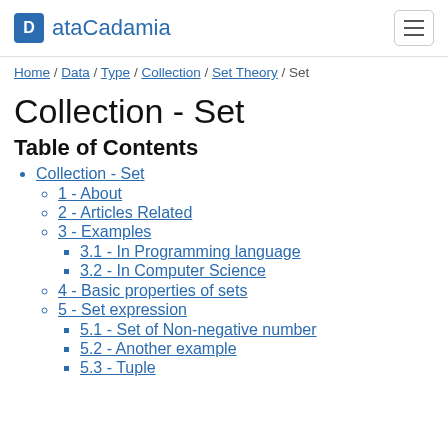ataCadamia
Home / Data / Type / Collection / Set Theory / Set
Collection - Set
Table of Contents
Collection - Set
1 - About
2 - Articles Related
3 - Examples
3.1 - In Programming language
3.2 - In Computer Science
4 - Basic properties of sets
5 - Set expression
5.1 - Set of Non-negative number
5.2 - Another example
5.3 - Tuple